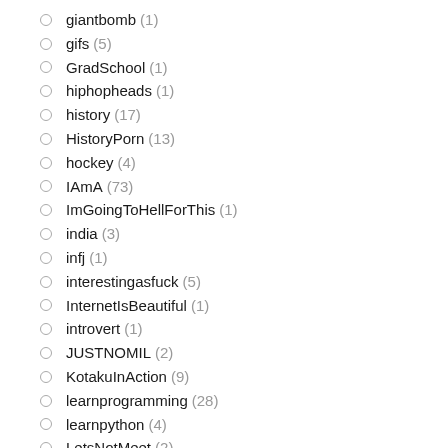giantbomb (1)
gifs (5)
GradSchool (1)
hiphopheads (1)
history (17)
HistoryPorn (13)
hockey (4)
IAmA (73)
ImGoingToHellForThis (1)
india (3)
infj (1)
interestingasfuck (5)
InternetIsBeautiful (1)
introvert (1)
JUSTNOMIL (2)
KotakuInAction (9)
learnprogramming (28)
learnpython (4)
LetsNotMeet (2)
lgbt (4)
AskEngineers (4)
LifeProTips (8)